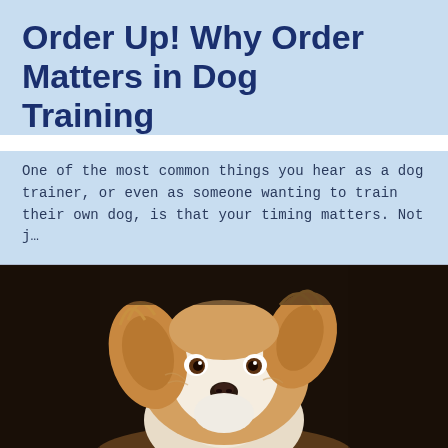Order Up! Why Order Matters in Dog Training
One of the most common things you hear as a dog trainer, or even as someone wanting to train their own dog, is that your timing matters. Not j…
[Figure (photo): Close-up photo of a small fluffy dog (Chihuahua or similar breed) with white and golden/tan fur, looking at camera, against a dark background]
[Figure (infographic): Footer navigation bar with three icons: green phone icon, magenta/pink envelope/mail icon, and blue Facebook icon]